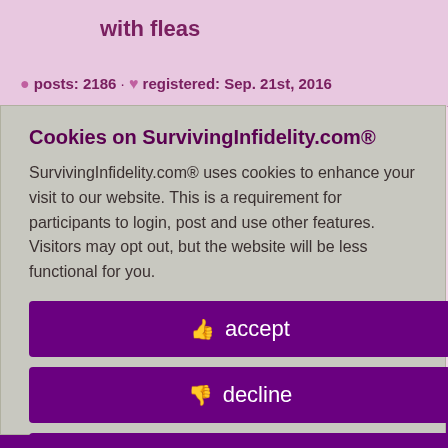with fleas
posts: 2186 · registered: Sep. 21st, 2016
id 8469555
sted, 2019
and realize ?
ning in? At tric system? At vest?
Cookies on SurvivingInfidelity.com®
SurvivingInfidelity.com® uses cookies to enhance your visit to our website. This is a requirement for participants to login, post and use other features. Visitors may opt out, but the website will be less functional for you.
accept
decline
about cookies
Policy